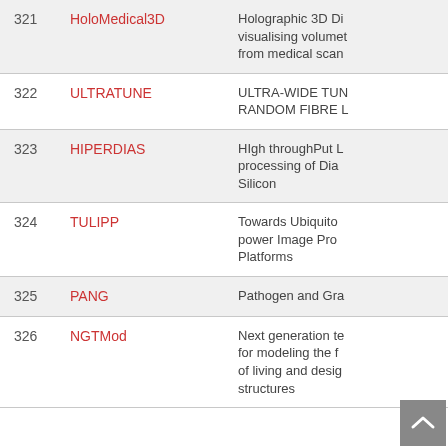|  | Name | Description |
| --- | --- | --- |
| 321 | HoloMedical3D | Holographic 3D Di... visualising volumet... from medical scan... |
| 322 | ULTRATUNE | ULTRA-WIDE TUN... RANDOM FIBRE L... |
| 323 | HIPERDIAS | HIgh throughPut L... processing of Dia... Silicon |
| 324 | TULIPP | Towards Ubiquito... power Image Pro... Platforms |
| 325 | PANG | Pathogen and Gra... |
| 326 | NGTMod | Next generation te... for modeling the f... of living and desig... structures |